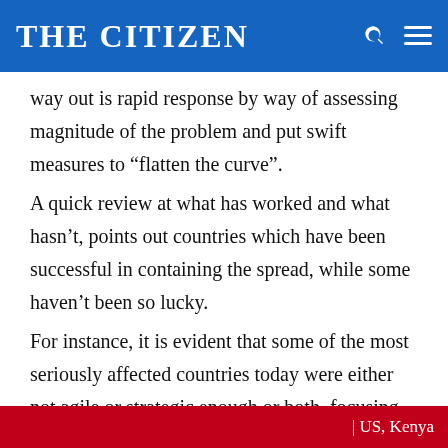THE CITIZEN
way out is rapid response by way of assessing magnitude of the problem and put swift measures to “flatten the curve”.
A quick review at what has worked and what hasn’t, points out countries which have been successful in containing the spread, while some haven’t been so lucky.
For instance, it is evident that some of the most seriously affected countries today were either not agile or strategic enough or both, focusing on “wishing it away” as a Chinese problem. The impact is proving to be
| US, Kenya